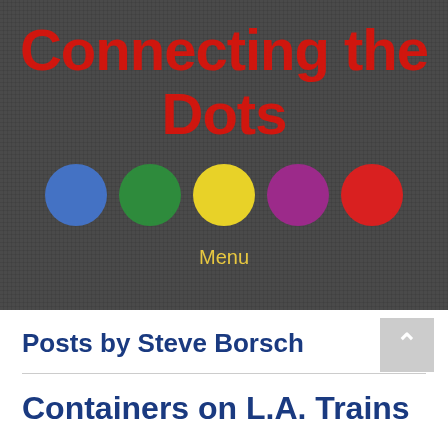Connecting the Dots
[Figure (illustration): Five colored circles in a row: blue, green, yellow, purple, red on a dark gray textured background]
Menu
Posts by Steve Borsch
Containers on L.A. Trains